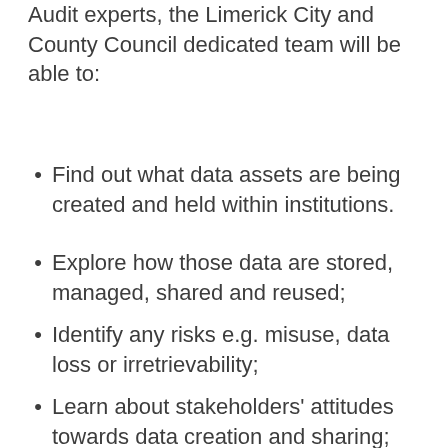Audit experts, the Limerick City and County Council dedicated team will be able to:
Find out what data assets are being created and held within institutions.
Explore how those data are stored, managed, shared and reused;
Identify any risks e.g. misuse, data loss or irretrievability;
Learn about stakeholders' attitudes towards data creation and sharing;
Suggest ways to improve ongoing data management
The Data Portal will be built on Derilinx's datAdore Open-Source Data Sharing Platform. This portal will